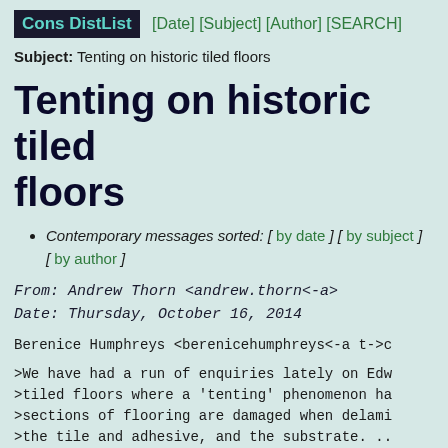Cons DistList [Date] [Subject] [Author] [SEARCH]
Subject: Tenting on historic tiled floors
Tenting on historic tiled floors
Contemporary messages sorted: [ by date ] [ by subject ] [ by author ]
From: Andrew Thorn <andrew.thorn<-a>
Date: Thursday, October 16, 2014
Berenice Humphreys <berenicehumphreys<-a t->c
>We have had a run of enquiries lately on Edw
>tiled floors where a 'tenting' phenomenon ha
>sections of flooring are damaged when delami
>the tile and adhesive, and the substrate. ..
This problem relates to the growth of low fir